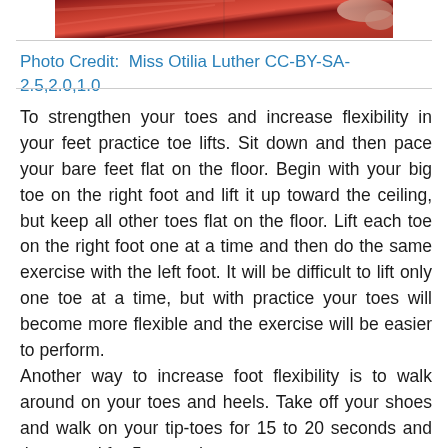[Figure (photo): A partial view of red shoes or red fabric, cropped at the top of the page]
Photo Credit:  Miss Otilia Luther CC-BY-SA-2.5,2.0,1.0
To strengthen your toes and increase flexibility in your feet practice toe lifts. Sit down and then pace your bare feet flat on the floor. Begin with your big toe on the right foot and lift it up toward the ceiling, but keep all other toes flat on the floor. Lift each toe on the right foot one at a time and then do the same exercise with the left foot. It will be difficult to lift only one toe at a time, but with practice your toes will become more flexible and the exercise will be easier to perform.
Another way to increase foot flexibility is to walk around on your toes and heels. Take off your shoes and walk on your tip-toes for 15 to 20 seconds and then stand for 5 seconds